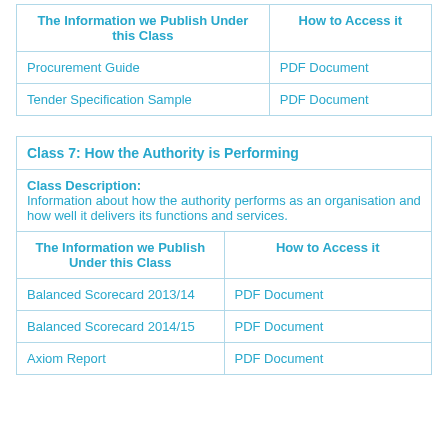| The Information we Publish Under this Class | How to Access it |
| --- | --- |
| Procurement Guide | PDF Document |
| Tender Specification Sample | PDF Document |
| Class 7: How the Authority is Performing |  |
| --- | --- |
| Class Description:
Information about how the authority performs as an organisation and how well it delivers its functions and services. |  |
| The Information we Publish Under this Class | How to Access it |
| Balanced Scorecard 2013/14 | PDF Document |
| Balanced Scorecard 2014/15 | PDF Document |
| Axiom Report | PDF Document |